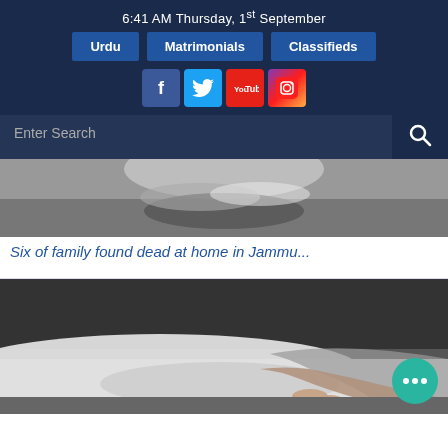6:41 AM Thursday, 1st September
Urdu | Matrimonials | Classifieds
[Figure (screenshot): Social media icons: Facebook, Twitter, YouTube, Instagram]
[Figure (screenshot): Search bar with Enter Search placeholder and search icon]
[Figure (photo): Partially visible photo related to a news article about deaths in Jammu]
Six of family found dead at home in Jammu...
[Figure (photo): Photo of a body draped in white cloth with a hand visible on a dark floor, related to a death news article]